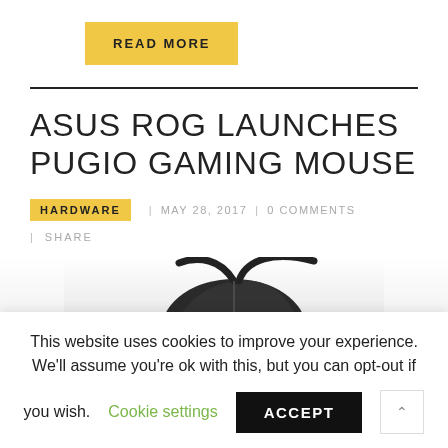READ MORE
ASUS ROG LAUNCHES PUGIO GAMING MOUSE
HARDWARE | MAY 28, 2017 | 0 COMMENTS
| SHARE
[Figure (photo): Partial photo of a gaming mouse (ASUS ROG Pugio) — dark/black mouse with green accent visible, shown from top-front angle with cable, against a white-to-gray gradient background]
This website uses cookies to improve your experience. We'll assume you're ok with this, but you can opt-out if you wish. Cookie settings ACCEPT